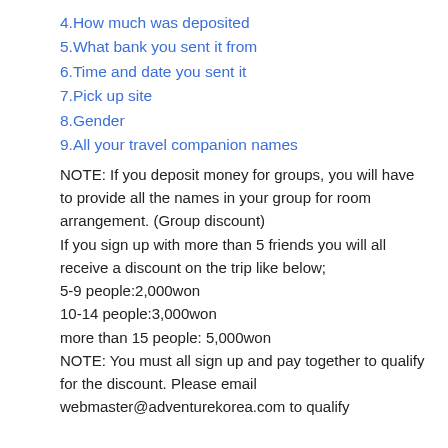4.How much was deposited
5.What bank you sent it from
6.Time and date you sent it
7.Pick up site
8.Gender
9.All your travel companion names
NOTE: If you deposit money for groups, you will have to provide all the names in your group for room arrangement. (Group discount)
If you sign up with more than 5 friends you will all receive a discount on the trip like below;
5-9 people:2,000won
10-14 people:3,000won
more than 15 people: 5,000won
NOTE: You must all sign up and pay together to qualify for the discount. Please email webmaster@adventurekorea.com to qualify